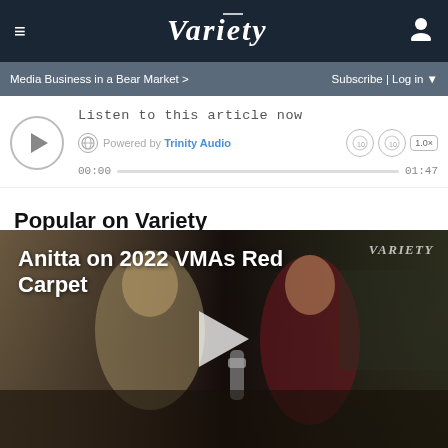≡   VARIETY   👤
Media Business in a Bear Market >   Subscribe | Log in ▼
[Figure (other): Audio player widget: Listen to this article now. Powered by Trinity Audio. Time 00:00 to 01:47. Speed 1.0x controls.]
Popular on Variety
[Figure (other): Video thumbnail showing interview at 2022 VMAs Red Carpet with Anitta. Play button overlay and Variety watermark visible.]
Anitta on 2022 VMAs Red Carpet